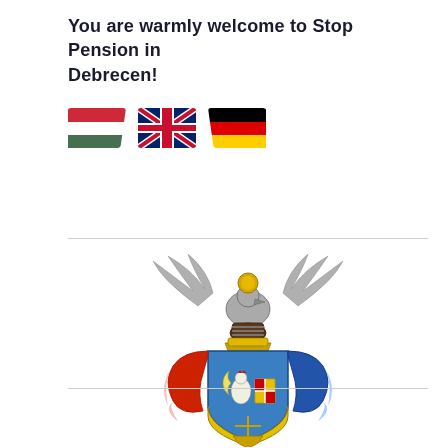You are warmly welcome to Stop Pension in Debrecen!
[Figure (illustration): Three country flags: Hungarian flag (red, white, green horizontal stripes), British Union Jack flag, and German flag (black, red, yellow horizontal stripes)]
[Figure (illustration): Coat of arms of Debrecen city: a heraldic shield with blue background featuring a rooster with crescent moon and a red cross on gold checkerboard shield, flanked by red and blue decorative mantling, topped with a knight helmet, crown, and an eagle with spread wings holding a gold orb]